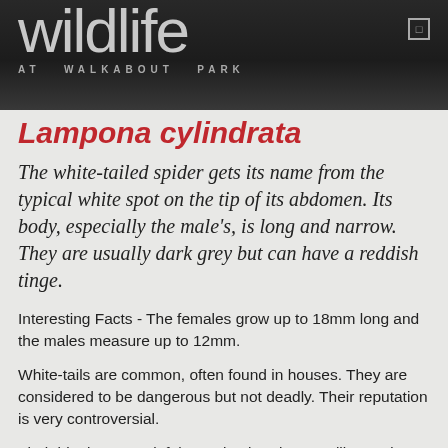wildlife AT WALKABOUT PARK
Lampona cylindrata
The white-tailed spider gets its name from the typical white spot on the tip of its abdomen. Its body, especially the male's, is long and narrow. They are usually dark grey but can have a reddish tinge.
Interesting Facts - The females grow up to 18mm long and the males measure up to 12mm.
White-tails are common, often found in houses. They are considered to be dangerous but not deadly. Their reputation is very controversial.
Their bite is very painful, causing burning, swelling and redness.